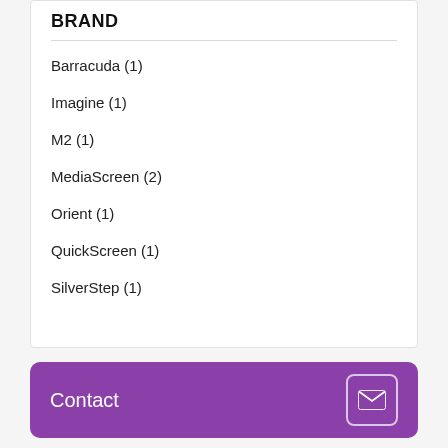BRAND
Barracuda (1)
Imagine (1)
M2 (1)
MediaScreen (2)
Orient (1)
QuickScreen (1)
SilverStep (1)
Contact